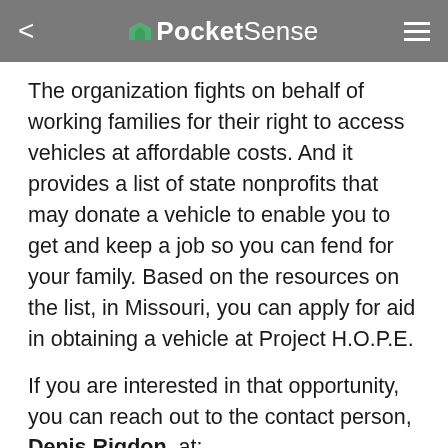PocketSense
The organization fights on behalf of working families for their right to access vehicles at affordable costs. And it provides a list of state nonprofits that may donate a vehicle to enable you to get and keep a job so you can fend for your family. Based on the resources on the list, in Missouri, you can apply for aid in obtaining a vehicle at Project H.O.P.E.
If you are interested in that opportunity, you can reach out to the contact person, Denis Rigdon, at: